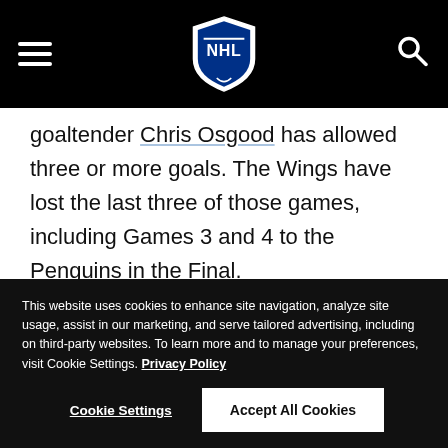NHL navigation header with hamburger menu, NHL shield logo, and search icon
goaltender Chris Osgood has allowed three or more goals. The Wings have lost the last three of those games, including Games 3 and 4 to the Penguins in the Final.
6 -- Years since a team lost the first two games of the
This website uses cookies to enhance site navigation, analyze site usage, assist in our marketing, and serve tailored advertising, including on third-party websites. To learn more and to manage your preferences, visit Cookie Settings. Privacy Policy
Cookie Settings | Accept All Cookies